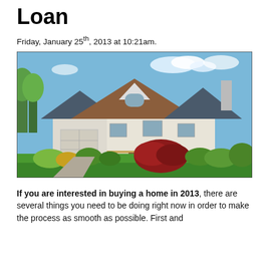Loan
Friday, January 25th, 2013 at 10:21am.
[Figure (photo): Photograph of a large two-story suburban house with white siding, brown and dark roof tiles, attached garage, chimney, and colorful landscaping including red, yellow, and green shrubs under a blue sky.]
If you are interested in buying a home in 2013, there are several things you need to be doing right now in order to make the process as smooth as possible. First and